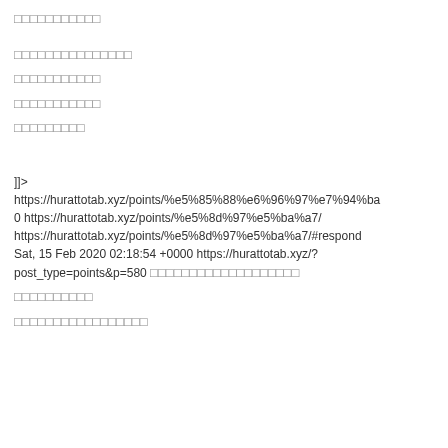□□□□□□□□□□□
□□□□□□□□□□□□□□□
□□□□□□□□□□□
□□□□□□□□□□□
□□□□□□□□□
]]>
https://hurattotab.xyz/points/%e5%85%88%e6%96%97%e7%94%ba
0 https://hurattotab.xyz/points/%e5%8d%97%e5%ba%a7/
https://hurattotab.xyz/points/%e5%8d%97%e5%ba%a7/#respond
Sat, 15 Feb 2020 02:18:54 +0000 https://hurattotab.xyz/?post_type=points&p=580 □□□□□□□□□□□□□□□□□□□
□□□□□□□□□□
□□□□□□□□□□□□□□□□□